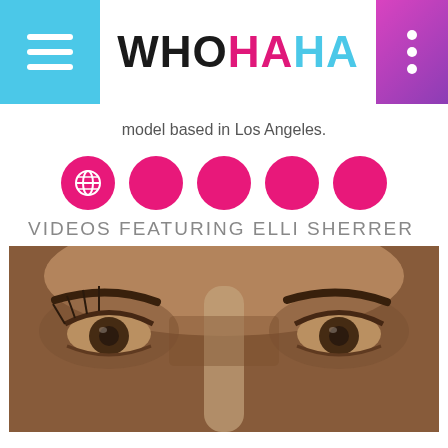WHOHAHA
model based in Los Angeles.
[Figure (other): Five pink social media icon circles]
VIDEOS FEATURING ELLI SHERRER
[Figure (photo): Close-up photo of a person's eyes and nose in sepia/warm tones]